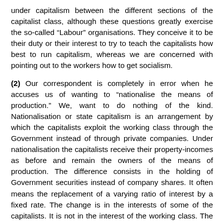under capitalism between the different sections of the capitalist class, although these questions greatly exercise the so-called “Labour” organisations. They conceive it to be their duty or their interest to try to teach the capitalists how best to run capitalism, whereas we are concerned with pointing out to the workers how to get socialism.
(2) Our correspondent is completely in error when he accuses us of wanting to “nationalise the means of production.” We, want to do nothing of the kind. Nationalisation or state capitalism is an arrangement by which the capitalists exploit the working class through the Government instead of through private companies. Under nationalisation the capitalists receive their property-incomes as before and remain the owners of the means of production. The difference consists in the holding of Government securities instead of company shares. It often means the replacement of a varying ratio of interest by a fixed rate. The change is in the interests of some of the capitalists. It is not in the interest of the working class. The Socialist Party has always opposed nationalisation.